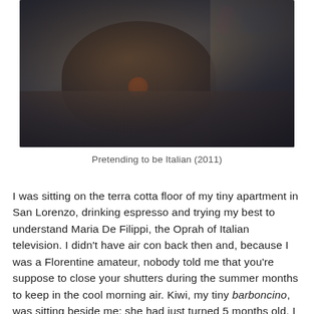[Figure (photo): A blurry indoor photo showing a dark sofa/couch scene, possibly with a person or pet, featuring dark brown tones with hints of orange, pink, and blue items visible. Warm and dark ambient lighting suggests an apartment interior.]
Pretending to be Italian (2011)
I was sitting on the terra cotta floor of my tiny apartment in San Lorenzo, drinking espresso and trying my best to understand Maria De Filippi, the Oprah of Italian television. I didn't have air con back then and, because I was a Florentine amateur, nobody told me that you're suppose to close your shutters during the summer months to keep in the cool morning air. Kiwi, my tiny barboncino, was sitting beside me; she had just turned 5 months old. I got her a month after losing my brother and brought her to Florence with me but before I go any further, I need to be honest